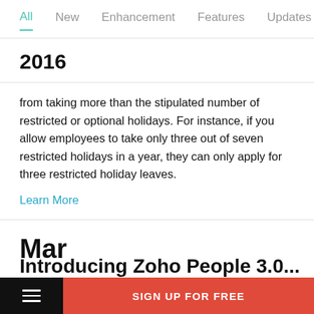All  New  Enhancement  Features  Updates
2016
from taking more than the stipulated number of restricted or optional holidays. For instance, if you allow employees to take only three out of seven restricted holidays in a year, they can only apply for three restricted holiday leaves.
Learn More
Mar
SIGN UP FOR FREE